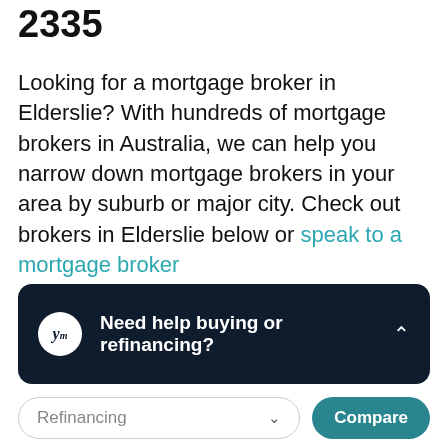2335
Looking for a mortgage broker in Elderslie? With hundreds of mortgage brokers in Australia, we can help you narrow down mortgage brokers in your area by suburb or major city. Check out brokers in Elderslie below or speak to a mortgage broker
[Figure (other): Dark navy chat widget with y/m logo and text 'Need help buying or refinancing?' with an expand chevron]
[Figure (other): Bottom bar with Refinancing dropdown and Compare button]